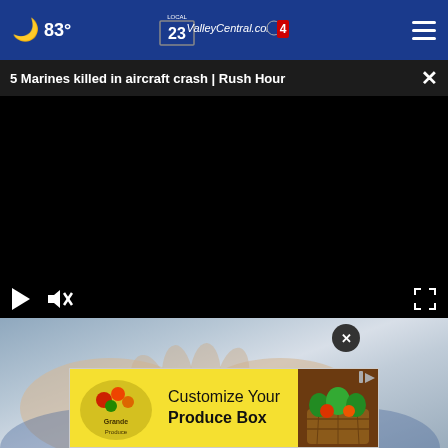83° ValleyCentral.com Local 23 4
5 Marines killed in aircraft crash | Rush Hour
[Figure (screenshot): Black video player with play and mute controls at bottom left and fullscreen icon at bottom right]
[Figure (photo): Photo of person's cupped hands, with advertisement overlay: Grande Produce - Customize Your Produce Box]
Customize Your Produce Box